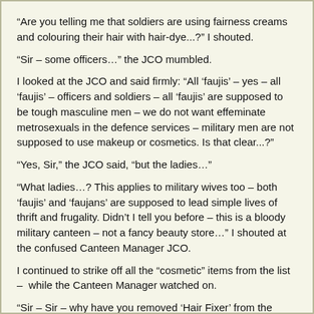“Are you telling me that soldiers are using fairness creams and colouring their hair with hair-dye...?” I shouted.
“Sir – some officers…” the JCO mumbled.
I looked at the JCO and said firmly: “All ‘faujis’ – yes – all ‘faujis’ – officers and soldiers – all ‘faujis’ are supposed to be tough masculine men – we do not want effeminate metrosexuals in the defence services – military men are not supposed to use makeup or cosmetics. Is that clear...?”
“Yes, Sir,” the JCO said, “but the ladies…”
“What ladies…? This applies to military wives too – both ‘faujis’ and ‘faujans’ are supposed to lead simple lives of thrift and frugality. Didn’t I tell you before – this is a bloody military canteen – not a fancy beauty store…” I shouted at the confused Canteen Manager JCO.
I continued to strike off all the “cosmetic” items from the list – while the Canteen Manager watched on.
“Sir – Sir – why have you removed ‘Hair Fixer’ from the demand list...?” he said, looking alarmed.